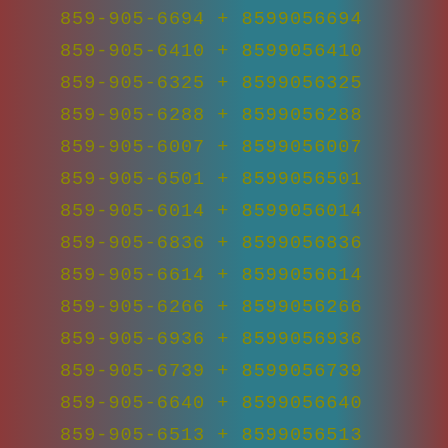859-905-6694 + 8599056694
859-905-6410 + 8599056410
859-905-6325 + 8599056325
859-905-6288 + 8599056288
859-905-6007 + 8599056007
859-905-6501 + 8599056501
859-905-6014 + 8599056014
859-905-6836 + 8599056836
859-905-6614 + 8599056614
859-905-6266 + 8599056266
859-905-6936 + 8599056936
859-905-6739 + 8599056739
859-905-6640 + 8599056640
859-905-6513 + 8599056513
859-905-6963 + 8599056963
859-905-6660 + 8599056660
859-905-6002 + 8599056002
859-905-6185 + 8599056185
859-905-6729 + 8599056729
859-905-6034 + 8599056034
859-905-6041 + 8599056041
859-905-6761 + 8599056761
859-905-6911 + 8599056911